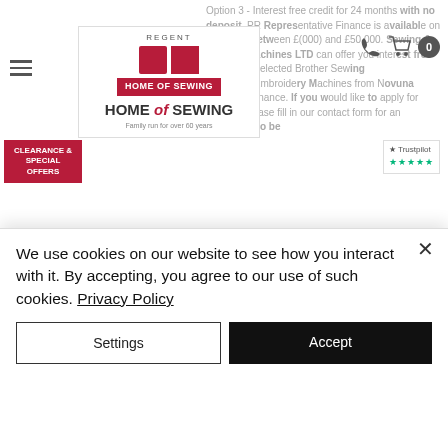Option 3 - Interest free credit for 24 months with no deposit. PR Representative Finance is available on all orders between £0,000 and £50,000. Sewing & Knitting Machines LTD can offer you interest free finance on selected Brother Sewing Machines/Embroidery Machines from Novuna Personal Finance. If you would like to apply for finance, please fill in our contact form for an application to be
Who can apply for finance?
Applicant must be 18 years or over on application date
In permanent UK residence – a minimum of 3 years
Retired from regular employment. Minimum age 50
Not working through disability
Self-Employed
In regular, permanent employment working a minimum of 16 hours per week (Includes students)
Terms and Conditions
To qualify you need a minimum loan value of £7000
Compulsory 10% deposit required for online applications. For in store applications this is optional.
We use cookies on our website to see how you interact with it. By accepting, you agree to our use of such cookies. Privacy Policy